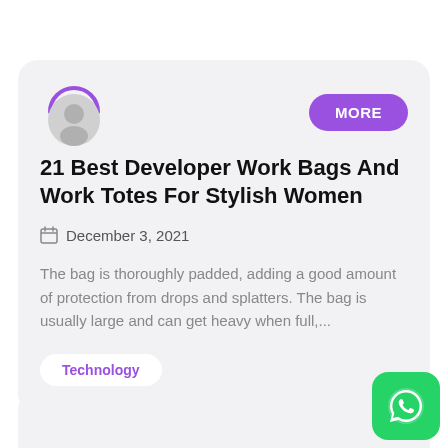21 Best Developer Work Bags And Work Totes For Stylish Women
December 3, 2021
The bag is thoroughly padded, adding a good amount of protection from drops and splatters. The bag is usually large and can get heavy when full,...
Technology